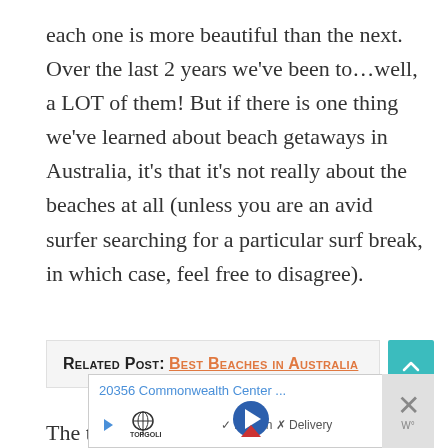each one is more beautiful than the next. Over the last 2 years we've been to…well, a LOT of them! But if there is one thing we've learned about beach getaways in Australia, it's that it's not really about the beaches at all (unless you are an avid surfer searching for a particular surf break, in which case, feel free to disagree).
Related Post: Best Beaches in Australia
The truth is, a perfect beach getaway is all
[Figure (screenshot): Advertisement overlay showing '20356 Commonwealth Center...' address with Topgolf logo, play button, navigation icons, Dine-in and Delivery options, and a close button with X mark]